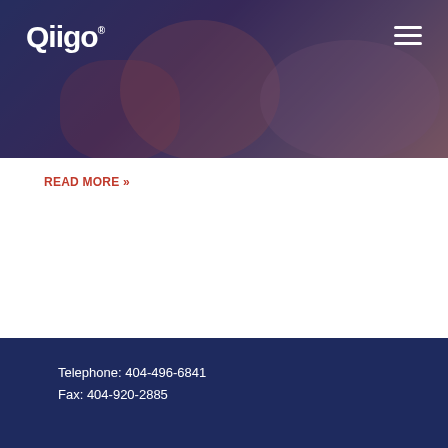[Figure (photo): Hero banner image showing people at a restaurant, overlaid with dark blue-purple tint. Qiigo logo in white top-left, hamburger menu icon top-right.]
Digital Marketing for Restaurant Franchise Brands
March 24, 2021
For multi-location businesses, challenges with localized SEO often arise at the corporate level. A common strategy is to list all their locations' information on one
READ MORE »
Telephone: 404-496-6841
Fax: 404-920-2885